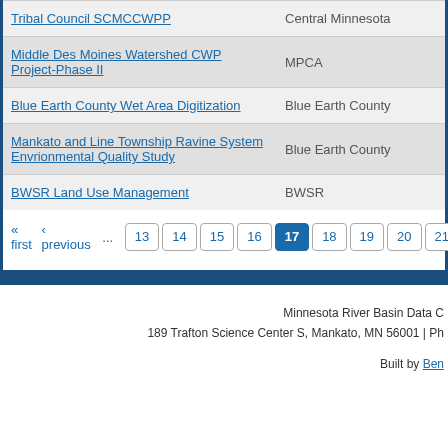| Project | Organization |
| --- | --- |
| Tribal Council SCMCCWPP | Central Minnesota |
| Middle Des Moines Watershed CWP Project-Phase II | MPCA |
| Blue Earth County Wet Area Digitization | Blue Earth County |
| Mankato and Line Township Ravine System Envrionmental Quality Study | Blue Earth County |
| BWSR Land Use Management | BWSR |
« first  ‹ previous  ...  13  14  15  16  17  18  19  20  21  ...
Minnesota River Basin Data C... 189 Trafton Science Center S, Mankato, MN 56001 | Ph... Built by Ben...